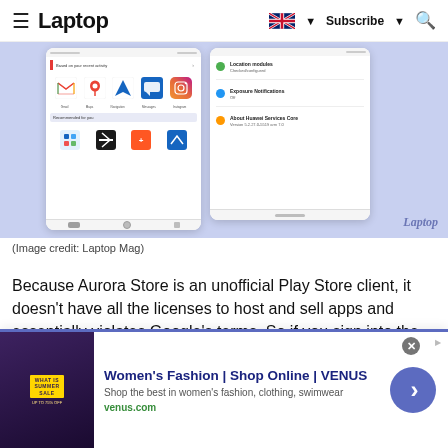≡ Laptop  [UK flag] ▼  Subscribe ▼  🔍
[Figure (screenshot): Screenshot showing two Android phone screens side by side on a light purple/blue background. Left screen shows Google Play Store-like interface with app icons (Gmail, Maps, Navigation, Messages, Instagram) and banners 'Based on your recent activity' and 'Recommended for you'. Right screen shows app settings with options like Location modules, Exposure Notifications, and About Huawei Services Core. Bottom right watermark reads 'Laptop'.]
(Image credit: Laptop Mag)
Because Aurora Store is an unofficial Play Store client, it doesn't have all the licenses to host and sell apps and essentially violates Google's terms. So if you sign into the Aurora Store with your primary Google
[Figure (screenshot): Advertisement banner for VENUS women's fashion. Shows 'Women's Fashion | Shop Online | VENUS' as title, 'Shop the best in women's fashion, clothing, swimwear' as subtitle, 'venus.com' URL, a product image with 'SUMMER SALE' text, and a blue circular arrow button on the right.]